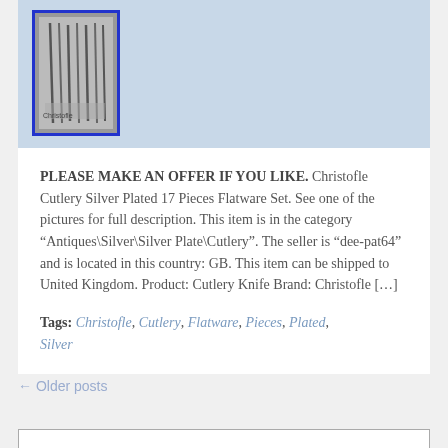[Figure (photo): Small thumbnail photo of Christofle cutlery/flatware set with a blue border, on a light blue background]
PLEASE MAKE AN OFFER IF YOU LIKE. Christofle Cutlery Silver Plated 17 Pieces Flatware Set. See one of the pictures for full description. This item is in the category “Antiques\Silver\Silver Plate\Cutlery”. The seller is “dee-pat64” and is located in this country: GB. This item can be shipped to United Kingdom. Product: Cutlery Knife Brand: Christofle […]
Tags: Christofle, Cutlery, Flatware, Pieces, Plated, Silver
← Older posts